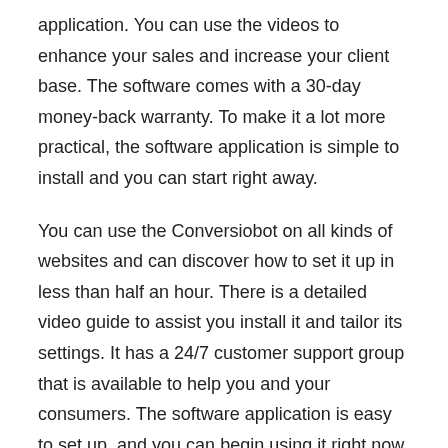application. You can use the videos to enhance your sales and increase your client base. The software comes with a 30-day money-back warranty. To make it a lot more practical, the software application is simple to install and you can start right away.
You can use the Conversiobot on all kinds of websites and can discover how to set it up in less than half an hour. There is a detailed video guide to assist you install it and tailor its settings. It has a 24/7 customer support group that is available to help you and your consumers. The software application is easy to set up, and you can begin using it right now. You can even connect it to your existing emailing service, such as MailChimp.
With the Conversiobot, you can turn your site into an automatic sales and lead generation machine. You can likewise offer your developed chatbots to other companies and make money while doing it. As the creators of the software, you get to keep all of the revenues. You can use the Conversiobot to construct your own